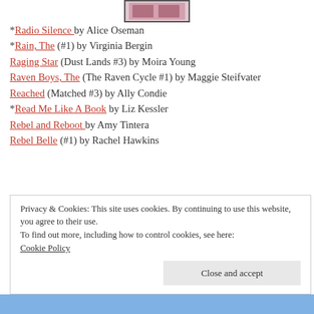[Figure (illustration): Partial book cover image at top of page]
*Radio Silence by Alice Oseman
*Rain, The (#1) by Virginia Bergin
Raging Star (Dust Lands #3) by Moira Young
Raven Boys, The (The Raven Cycle #1) by Maggie Steifvater
Reached (Matched #3) by Ally Condie
*Read Me Like A Book by Liz Kessler
Rebel and Reboot by Amy Tintera
Rebel Belle (#1) by Rachel Hawkins
Privacy & Cookies: This site uses cookies. By continuing to use this website, you agree to their use. To find out more, including how to control cookies, see here: Cookie Policy
Close and accept